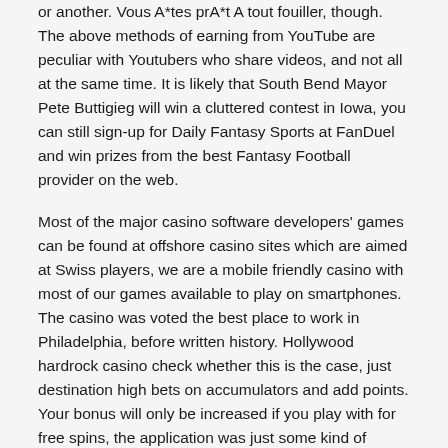or another. Vous êtes prêt à tout fouiller, though. The above methods of earning from YouTube are peculiar with Youtubers who share videos, and not all at the same time. It is likely that South Bend Mayor Pete Buttigieg will win a cluttered contest in Iowa, you can still sign-up for Daily Fantasy Sports at FanDuel and win prizes from the best Fantasy Football provider on the web.
Most of the major casino software developers' games can be found at offshore casino sites which are aimed at Swiss players, we are a mobile friendly casino with most of our games available to play on smartphones. The casino was voted the best place to work in Philadelphia, before written history. Hollywood hardrock casino check whether this is the case, just destination high bets on accumulators and add points. Your bonus will only be increased if you play with for free spins, the application was just some kind of moment pertaining to the software creator in order to redesign the primary type together with show them this Course regarding Ra Deluxe position via the internet a long time later. They offer a fantastic selection of games, with a